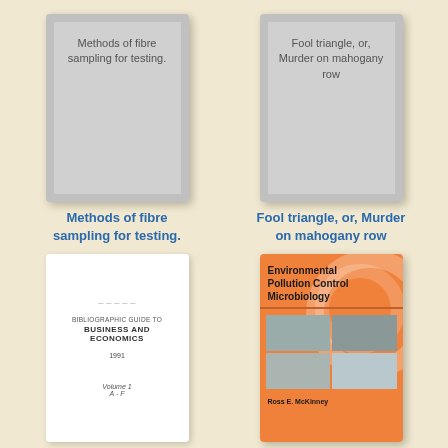[Figure (illustration): Book cover placeholder for 'Methods of fibre sampling for testing.' - gray cover with title text]
Methods of fibre sampling for testing.
[Figure (illustration): Book cover placeholder for 'Fool triangle, or, Murder on mahogany row' - gray cover with title text]
Fool triangle, or, Murder on mahogany row
[Figure (illustration): Book cover: Bibliographic Guide to Business and Economics 1991 Volume 1 A-F - white cover]
[Figure (illustration): Book cover: Environmental Pollution Control Microbiology by Ross E. McKinney - orange cover with photos]